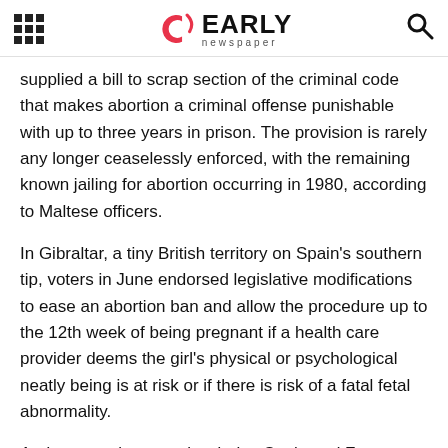Early Newspaper
supplied a bill to scrap section of the criminal code that makes abortion a criminal offense punishable with up to three years in prison. The provision is rarely any longer ceaselessly enforced, with the remaining known jailing for abortion occurring in 1980, according to Maltese officers.
In Gibraltar, a tiny British territory on Spain's southern tip, voters in June endorsed legislative modifications to ease an abortion ban and allow the procedure up to the 12th week of being pregnant if a health care provider deems the girl's physical or psychological neatly being is at risk or if there is risk of a fatal fetal abnormality.
Andorra, a microstate bordering Spain and France, has a entire ban on abortion.
Italy's abortion legislation, fiercely lobbied against by the Catholic church, enables neatly being personnel to refuse to originate